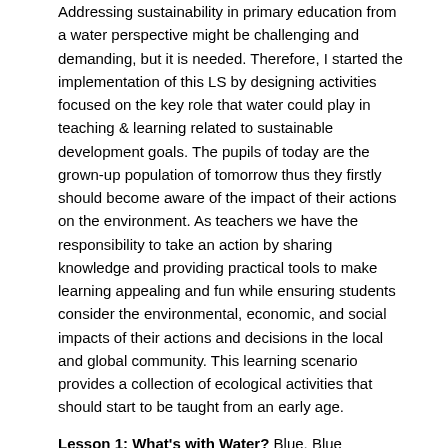Addressing sustainability in primary education from a water perspective might be challenging and demanding, but it is needed. Therefore, I started the implementation of this LS by designing activities focused on the key role that water could play in teaching & learning related to sustainable development goals. The pupils of today are the grown-up population of tomorrow thus they firstly should become aware of the impact of their actions on the environment. As teachers we have the responsibility to take an action by sharing knowledge and providing practical tools to make learning appealing and fun while ensuring students consider the environmental, economic, and social impacts of their actions and decisions in the local and global community. This learning scenario provides a collection of ecological activities that should start to be taught from an early age.
Lesson 1: What's with Water? Blue, Blue Everywhere!
Language and communication
Brainstorming and whole class discussion